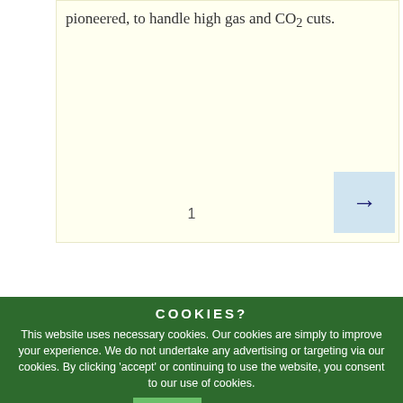pioneered, to handle high gas and CO2 cuts.
1
COOKIES?
This website uses necessary cookies. Our cookies are simply to improve your experience. We do not undertake any advertising or targeting via our cookies. By clicking 'accept' or continuing to use the website, you consent to our use of cookies.
Accept
Read More